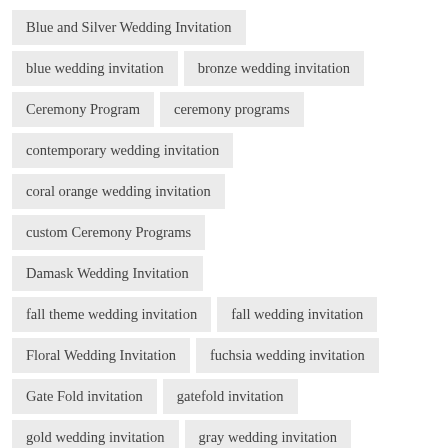Blue and Silver Wedding Invitation
blue wedding invitation
bronze wedding invitation
Ceremony Program
ceremony programs
contemporary wedding invitation
coral orange wedding invitation
custom Ceremony Programs
Damask Wedding Invitation
fall theme wedding invitation
fall wedding invitation
Floral Wedding Invitation
fuchsia wedding invitation
Gate Fold invitation
gatefold invitation
gold wedding invitation
gray wedding invitation
green wedding invitation
Grey wedding invitation